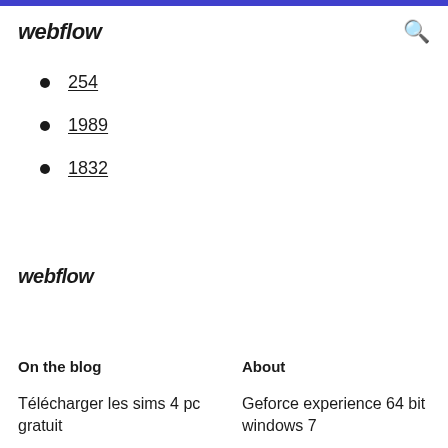webflow
254
1989
1832
webflow
On the blog
About
Télécharger les sims 4 pc gratuit
Geforce experience 64 bit windows 7